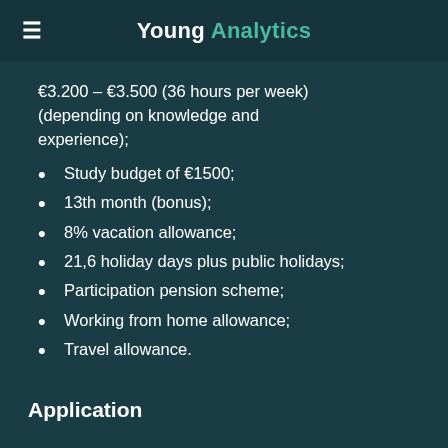Young Analytics
€3.200 – €3.500 (36 hours per week) (depending on knowledge and experience);
Study budget of €1500;
13th month (bonus);
8% vacation allowance;
21,6 holiday days plus public holidays;
Participation pension scheme;
Working from home allowance;
Travel allowance.
Application